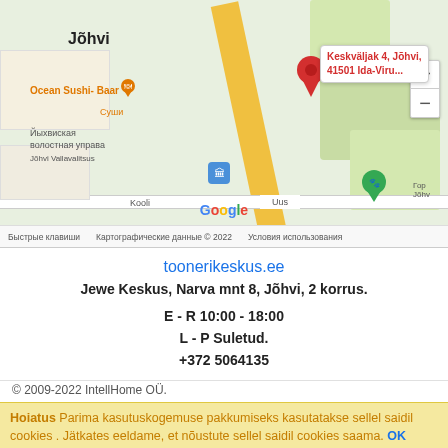[Figure (map): Google Maps screenshot showing Jõhvi area with a red pin marker at Keskväljak 4, Jõhvi, 41501 Ida-Viru..., showing streets including Uus, Kooli, nearby locations Ocean Sushi-Baar, Йыхвиская волостная управа, Jõhvi Vallavalitsus, zoom controls (+/-), Google logo, and footer text 'Быстрые клавиши  Картографические данные © 2022  Условия использования']
toonerikeskus.ee
Jewe Keskus, Narva mnt 8, Jõhvi, 2 korrus.
E - R 10:00 - 18:00
L - P Suletud.
+372 5064135
© 2009-2022 IntellHome OÜ.
Hoiatus  Parima kasutuskogemuse pakkumiseks kasutatakse sellel saidil cookies . Jätkates eeldame, et nõustute sellel saidil cookies saama. OK